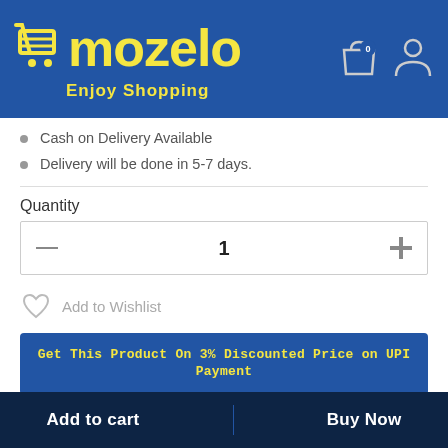[Figure (logo): Mozelo shopping app logo with yellow cart icon and text 'mozelo Enjoy Shopping' on blue background, with cart and user icons on the right]
Cash on Delivery Available
Delivery will be done in 5-7 days.
Quantity
1
Add to Wishlist
Get This Product On 3% Discounted Price on UPI Payment
Add to cart
Buy Now